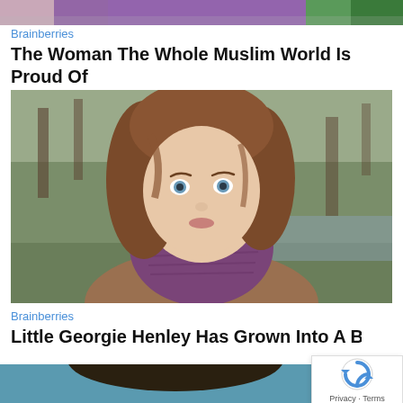[Figure (photo): Partial top strip of a photo showing people in colorful clothing (purple and green visible)]
Brainberries
The Woman The Whole Muslim World Is Proud Of
[Figure (photo): Portrait of a young woman with long brown wavy hair and blue eyes, wearing a purple knit scarf, outdoors in a wooded area in winter]
Brainberries
Little Georgie Henley Has Grown Into A Beautiful Swan!
[Figure (photo): Partial bottom photo showing top of someone's head with dark hair against a teal/blue background]
[Figure (other): reCAPTCHA verification widget with Privacy and Terms links]